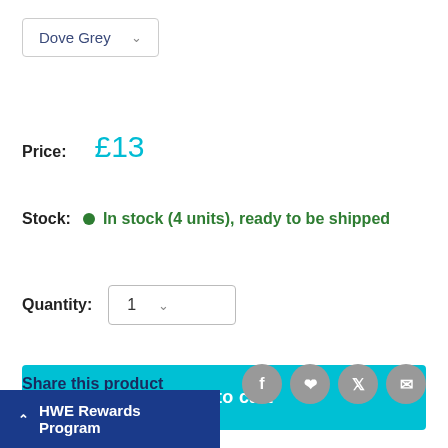Dove Grey (dropdown)
Price: £13
Stock: In stock (4 units), ready to be shipped
Quantity: 1
Add to cart
Share this product
HWE Rewards Program